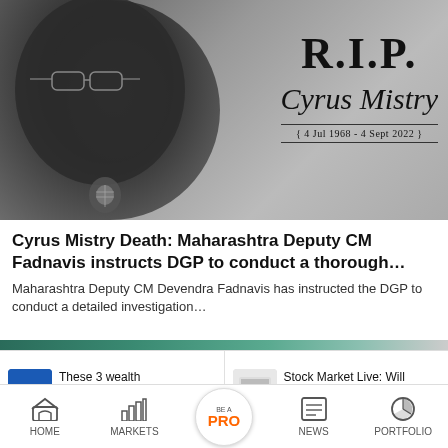[Figure (photo): Black and white photo of Cyrus Mistry with RIP overlay text. Text reads: R.I.P. Cyrus Mistry { 4 Jul 1968 - 4 Sept 2022 }]
Cyrus Mistry Death: Maharashtra Deputy CM Fadnavis instructs DGP to conduct a thorough…
Maharashtra Deputy CM Devendra Fadnavis has instructed the DGP to conduct a detailed investigation…
[Figure (screenshot): Thumbnail strip partially visible, green/teal colored banner]
These 3 wealth managers want to offer investment…
Stock Market Live: Will DreamFolks make a decent listing D…
HOME  MARKETS  BE A PRO  NEWS  PORTFOLIO